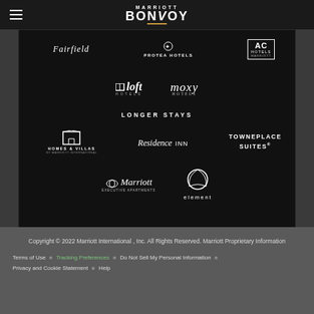Marriott Bonvoy
[Figure (logo): Dark panel showing hotel brand logos: Fairfield, Protea Hotels, AC Hotels by Marriott, Aloft Hotels, Moxy Hotels, section header LONGER STAYS, Homes & Villas by Marriott International, Residence Inn, TownePlace Suites, Marriott Executive Apartments, Element]
LONGER STAYS
Copyright © 2022 Marriott International , Inc. All Rights Reserved. Marriott Proprietary Information
Terms of Use · Tracking Preferences · Do Not Sell My Personal Information · Privacy and Cookie Statement · Help